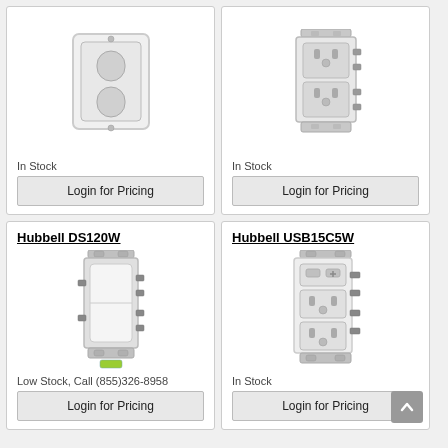[Figure (photo): White electrical outlet wall plate cover (cropped top card, left)]
In Stock
Login for Pricing
[Figure (photo): White duplex electrical receptacle outlet, side view (cropped top card, right)]
In Stock
Login for Pricing
Hubbell DS120W
[Figure (photo): White decorator rocker light switch with mounting hardware, front view]
Low Stock, Call (855)326-8958
Login for Pricing
Hubbell USB15C5W
[Figure (photo): White USB outlet/receptacle combo with two USB-C ports and duplex outlets, with mounting tabs]
In Stock
Login for Pricing